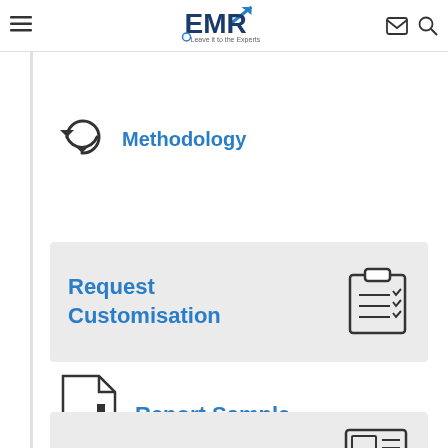EMR - Leave it to the Experts
[Figure (illustration): Partially visible methodology icon (circular arrow/recycle symbol) at top left]
Methodology
[Figure (illustration): Gray card with Request Customisation text and clipboard icon on the right]
Request Customisation
[Figure (illustration): Document with bar chart icon]
Report Sample
[Figure (illustration): Gray card with Request Brochure text and newspaper/brochure icon on the right]
Request Brochure
[Figure (illustration): Telephone/phone handset icon]
Ask an Analyst